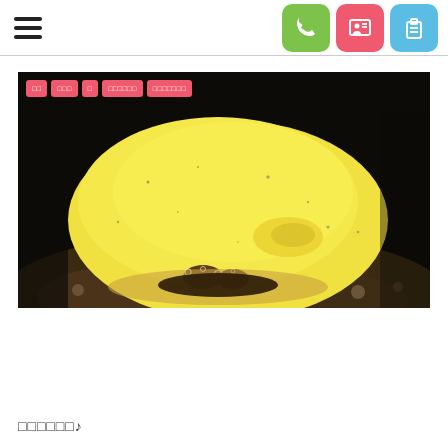[hamburger menu] [phone icon] [contact icon] [clipboard icon]
[Figure (photo): Close-up macro photograph of a bright yellow sea slug or nudibranch on a dark rocky/coral substrate. The creature has a smooth, rounded, dome-like yellow body with small dark speckles, and its underside/oral area is visible at the bottom showing small tube-like protrusions and brown textured surfaces.]
□□□□□□♪